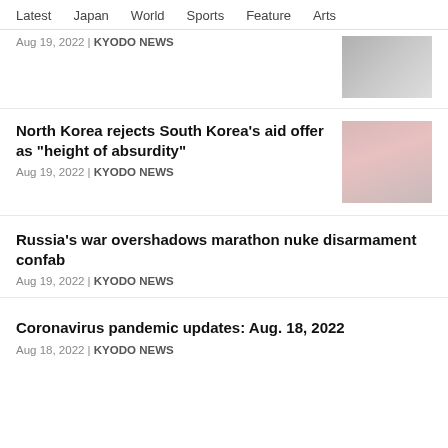Latest  Japan  World  Sports  Feature  Arts
Aug 19, 2022 | KYODO NEWS
North Korea rejects South Korea's aid offer as "height of absurdity"
Aug 19, 2022 | KYODO NEWS
Russia's war overshadows marathon nuke disarmament confab
Aug 19, 2022 | KYODO NEWS
Coronavirus pandemic updates: Aug. 18, 2022
Aug 18, 2022 | KYODO NEWS